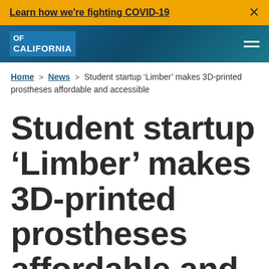Learn how we're fighting COVID-19
[Figure (logo): University of California logo/wordmark on blue gradient header bar]
Home > News > Student startup ‘Limber’ makes 3D-printed prostheses affordable and accessible
Student startup ‘Limber’ makes 3D-printed prostheses affordable and accessible